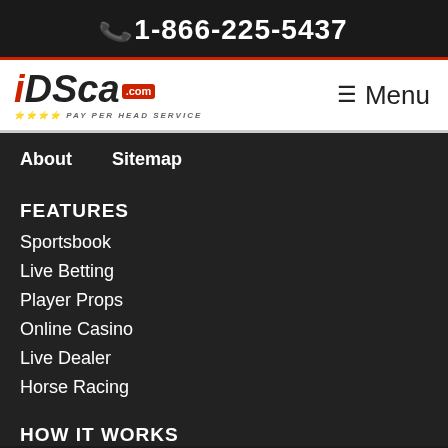1-866-225-5437
[Figure (logo): iDSca.com Pay Per Head Service logo with red and black text on white background, with hamburger Menu button on the right]
About   Sitemap
FEATURES
Sportsbook
Live Betting
Player Props
Online Casino
Live Dealer
Horse Racing
HOW IT WORKS